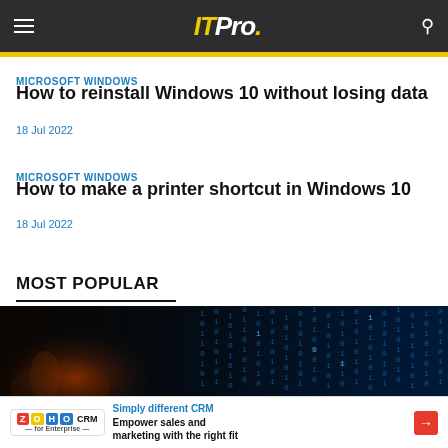IT Pro.
MICROSOFT WINDOWS
How to reinstall Windows 10 without losing data
18 Jul 2022
MICROSOFT WINDOWS
How to make a printer shortcut in Windows 10
18 Jul 2022
MOST POPULAR
[Figure (photo): Dark image with blue digital rain/matrix code effect and a shadowy hand, used as hero image for Most Popular section]
Simply different CRM Empower sales and marketing with the right fit